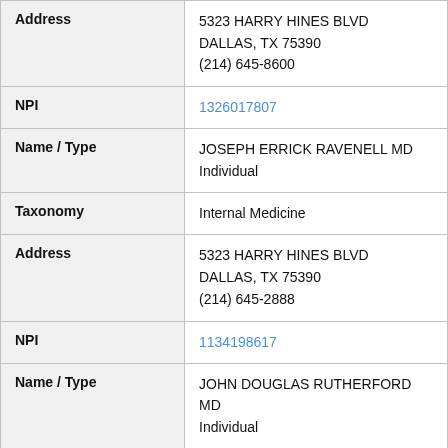| Field | Value |
| --- | --- |
| Address | 5323 HARRY HINES BLVD
DALLAS, TX 75390
(214) 645-8600 |
| NPI | 1326017807 |
| Name / Type | JOSEPH ERRICK RAVENELL MD
Individual |
| Taxonomy | Internal Medicine |
| Address | 5323 HARRY HINES BLVD
DALLAS, TX 75390
(214) 645-2888 |
| NPI | 1134198617 |
| Name / Type | JOHN DOUGLAS RUTHERFORD MD
Individual |
| Taxonomy | Internal Medicine |